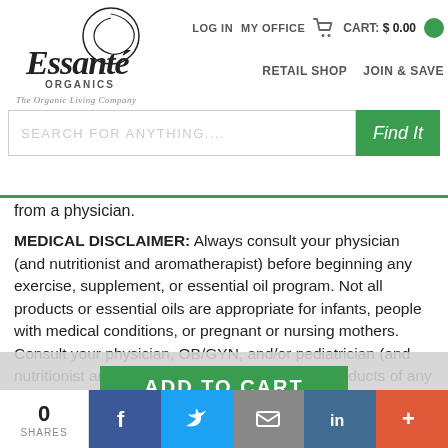[Figure (logo): Essante Organics logo with cursive script and 'The Organic Living Company' tagline]
LOG IN   MY OFFICE   CART: $0.00
RETAIL SHOP   JOIN & SAVE
SEARCH FOR ANYTHING....
from a physician.
MEDICAL DISCLAIMER: Always consult your physician (and nutritionist and aromatherapist) before beginning any exercise, supplement, or essential oil program. Not all products or essential oils are appropriate for infants, people with medical conditions, or pregnant or nursing mothers. Consult your physician, OB/GYN, and/or pediatrician (and nutritionist and aromatherapist) prior to using products of any kind, especially products containing toxic ingredients.
WARNING: Do not ... containing honey,
ADD TO CART
0 SHARES